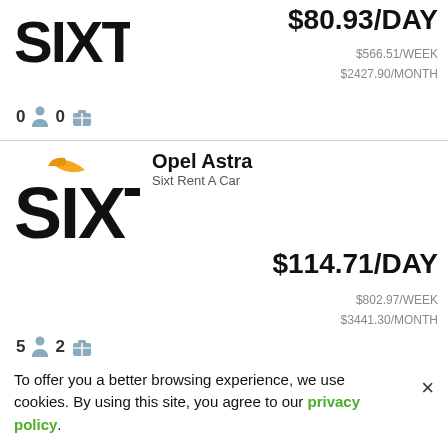[Figure (logo): Sixt Rent A Car logo (top, partial)]
$80.93/DAY
$566.51/WEEK
$2427.90/MONTH
0 [person icon] 0 [bag icon]
[Figure (logo): Sixt Rent A Car logo (full, with orange accent)]
Opel Astra
Sixt Rent A Car
$114.71/DAY
$802.97/WEEK
$3441.30/MONTH
5 [person icon] 2 [bag icon]
To offer you a better browsing experience, we use cookies. By using this site, you agree to our privacy policy.